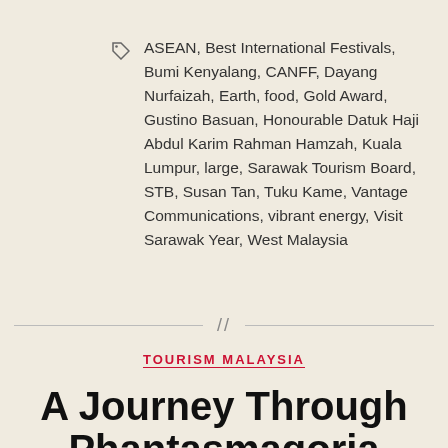ASEAN, Best International Festivals, Bumi Kenyalang, CANFF, Dayang Nurfaizah, Earth, food, Gold Award, Gustino Basuan, Honourable Datuk Haji Abdul Karim Rahman Hamzah, Kuala Lumpur, large, Sarawak Tourism Board, STB, Susan Tan, Tuku Kame, Vantage Communications, vibrant energy, Visit Sarawak Year, West Malaysia
TOURISM MALAYSIA
A Journey Through Phantasmagoria Royal – Floria Putrajaya and